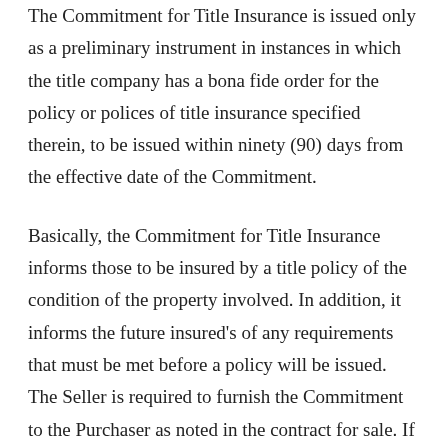The Commitment for Title Insurance is issued only as a preliminary instrument in instances in which the title company has a bona fide order for the policy or polices of title insurance specified therein, to be issued within ninety (90) days from the effective date of the Commitment.
Basically, the Commitment for Title Insurance informs those to be insured by a title policy of the condition of the property involved. In addition, it informs the future insured’s of any requirements that must be met before a policy will be issued. The Seller is required to furnish the Commitment to the Purchaser as noted in the contract for sale. If a loan is part of the transaction, the Lender will